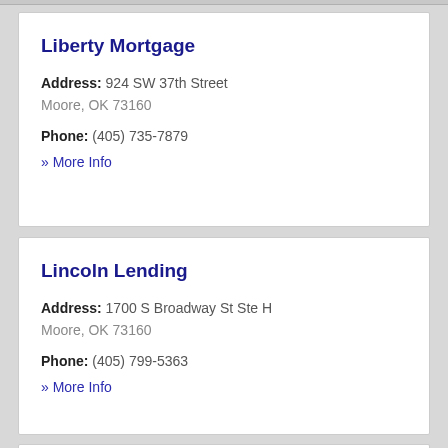Liberty Mortgage
Address: 924 SW 37th Street
Moore, OK 73160
Phone: (405) 735-7879
» More Info
Lincoln Lending
Address: 1700 S Broadway St Ste H
Moore, OK 73160
Phone: (405) 799-5363
» More Info